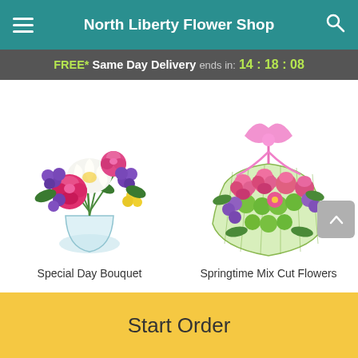North Liberty Flower Shop
FREE* Same Day Delivery ends in: 14 : 18 : 08
[Figure (photo): Special Day Bouquet - colorful flower arrangement with pink roses, white lilies, purple flowers, and yellow flowers in a glass vase]
Special Day Bouquet
[Figure (photo): Springtime Mix Cut Flowers - pink and green flower bouquet wrapped in green netting with pink ribbon bow]
Springtime Mix Cut Flowers
Start Order